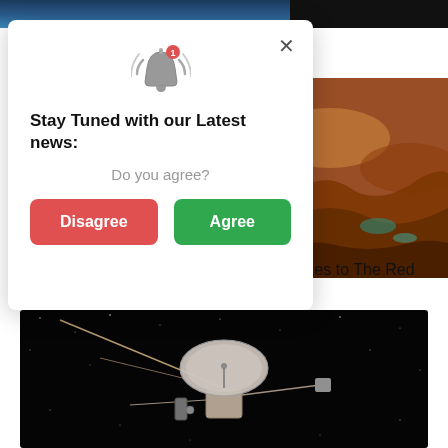[Figure (screenshot): Top strip showing two images partially visible at top of page]
[Figure (photo): Partial text '...scovered by Scientists' and Mars landscape photo on right side]
[Figure (screenshot): Modal dialog with notification bell icon, title 'Stay Tuned with our Latest news:', subtitle 'Do you agree?', and two buttons: Disagree (red) and Agree (green), with X close button]
Strange Signal on Mars Reveals New Clues to The Red Planet's Hidden Past
[Figure (photo): Voyager spacecraft against a star-filled black space background]